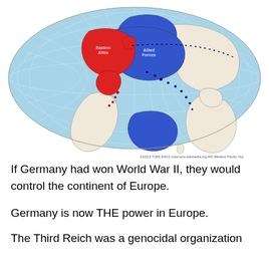[Figure (map): World map (Robinson/Mollweide projection) showing Pacific Theater of WWII. Asia/Eastern Asia highlighted in red. Australia, North America highlighted in blue. Light blue ocean background with dotted lines across the Pacific. Small watermark text at bottom right.]
If Germany had won World War II, they would control the continent of Europe.
Germany is now THE power in Europe.
The Third Reich was a genocidal organization